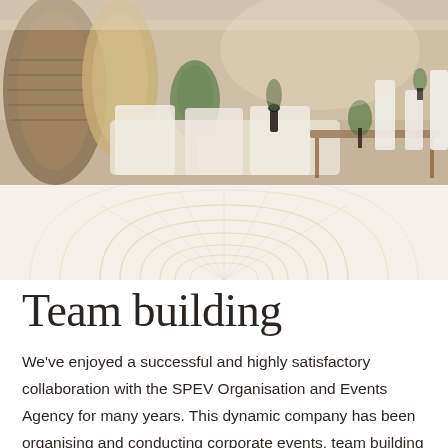[Figure (photo): Interior photo of a stylish lounge or event venue with woven baskets, plants, soft white cushions, wooden tables, and decorative vases in neutral tones]
[Figure (illustration): Decorative watermark/background graphic with arch and fan-like geometric pattern in light gray on cream background]
Team building
We've enjoyed a successful and highly satisfactory collaboration with the SPEV Organisation and Events Agency for many years. This dynamic company has been organising and conducting corporate events, team building programs, company outings, promotional events, parties and